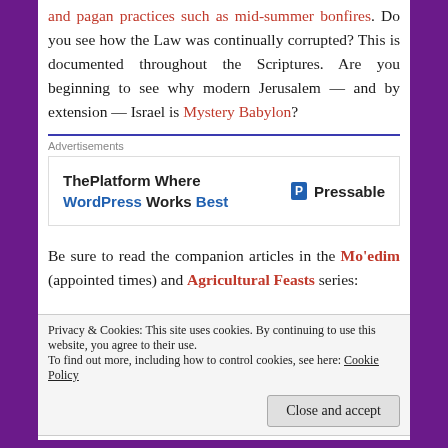and pagan practices such as mid-summer bonfires. Do you see how the Law was continually corrupted? This is documented throughout the Scriptures. Are you beginning to see why modern Jerusalem — and by extension — Israel is Mystery Babylon?
[Figure (other): Advertisement banner: ThePlatform Where WordPress Works Best | Pressable]
Be sure to read the companion articles in the Mo'edim (appointed times) and Agricultural Feasts series:
Privacy & Cookies: This site uses cookies. By continuing to use this website, you agree to their use. To find out more, including how to control cookies, see here: Cookie Policy
– 14 Abib